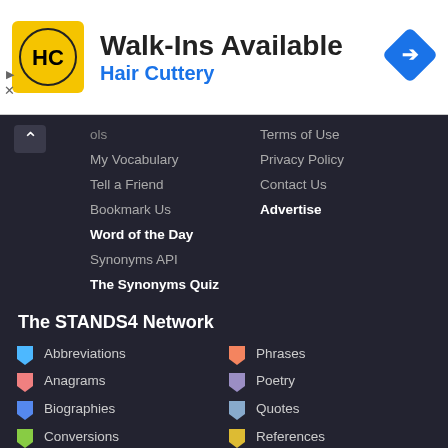[Figure (advertisement): Hair Cuttery advertisement banner with logo, 'Walk-Ins Available' headline, and blue navigation arrow icon]
ols
Terms of Use
My Vocabulary
Privacy Policy
Tell a Friend
Contact Us
Bookmark Us
Advertise
Word of the Day
Synonyms API
The Synonyms Quiz
The STANDS4 Network
Abbreviations
Phrases
Anagrams
Poetry
Biographies
Quotes
Conversions
References
Calculators
Rhymes
Definitions
Scripts
Grammar
Symbols